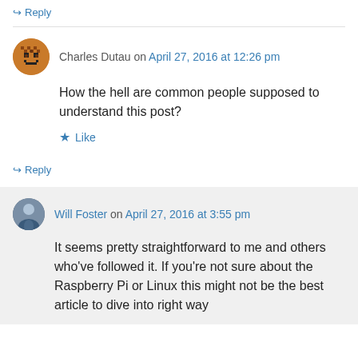↪ Reply
Charles Dutau on April 27, 2016 at 12:26 pm
How the hell are common people supposed to understand this post?
★ Like
↪ Reply
Will Foster on April 27, 2016 at 3:55 pm
It seems pretty straightforward to me and others who've followed it. If you're not sure about the Raspberry Pi or Linux this might not be the best article to dive into right way